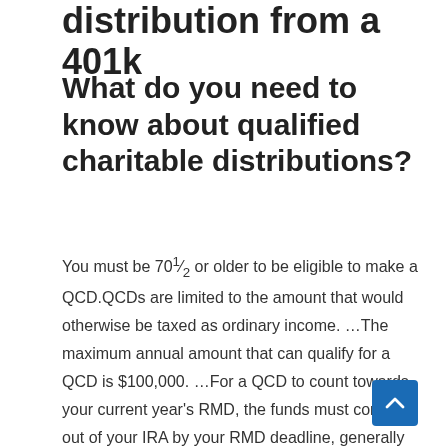distribution from a 401k
What do you need to know about qualified charitable distributions?
You must be 70½ or older to be eligible to make a QCD.QCDs are limited to the amount that would otherwise be taxed as ordinary income. …The maximum annual amount that can qualify for a QCD is $100,000. …For a QCD to count towards your current year's RMD, the funds must come out of your IRA by your RMD deadline, generally December 31.